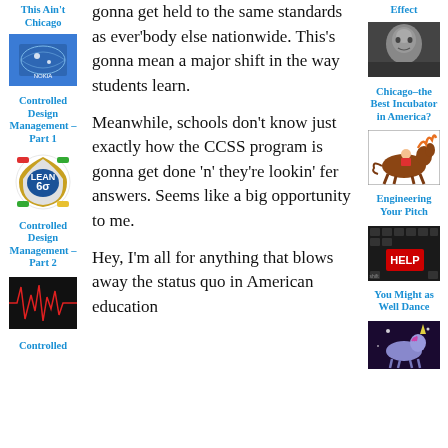This Ain't Chicago
[Figure (photo): Blue world map with city logos including Nokia and other brands]
Controlled Design Management – Part 1
[Figure (logo): Lean Six Sigma circular logo]
Controlled Design Management – Part 2
[Figure (other): Red waveform/signal on black background]
Controlled
gonna get held to the same standards as ever'body else nationwide. This's gonna mean a major shift in the way students learn.
Meanwhile, schools don't know just exactly how the CCSS program is gonna get done 'n' they're lookin' fer answers. Seems like a big opportunity to me.
Hey, I'm all for anything that blows away the status quo in American education
Effect
[Figure (photo): Black and white close-up portrait of a man's face]
Chicago–the Best Incubator in America?
[Figure (illustration): Illustration of a jockey riding a galloping horse]
Engineering Your Pitch
[Figure (photo): Computer keyboard with red HELP key]
You Might as Well Dance
[Figure (illustration): Fantasy illustration of a unicorn]